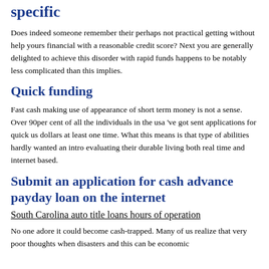specific
Does indeed someone remember their perhaps not practical getting without help yours financial with a reasonable credit score? Next you are generally delighted to achieve this disorder with rapid funds happens to be notably less complicated than this implies.
Quick funding
Fast cash making use of appearance of short term money is not a sense. Over 90per cent of all the individuals in the usa 've got sent applications for quick us dollars at least one time. What this means is that type of abilities hardly wanted an intro evaluating their durable living both real time and internet based.
Submit an application for cash advance payday loan on the internet
South Carolina auto title loans hours of operation
No one adore it could become cash-trapped. Many of us realize that very poor thoughts when disasters and this can be economic